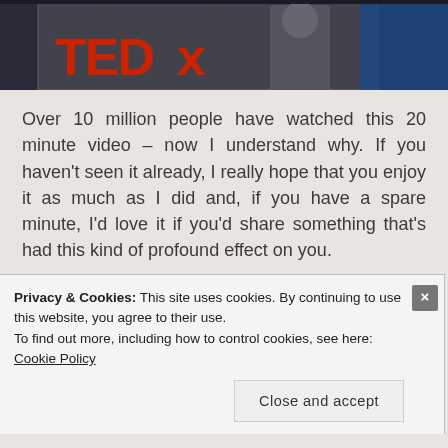[Figure (photo): A person speaking at a TEDx event, with red TEDx lettering visible on a backdrop and a blue section on the right side of the stage backdrop.]
Over 10 million people have watched this 20 minute video – now I understand why. If you haven't seen it already, I really hope that you enjoy it as much as I did and, if you have a spare minute, I'd love it if you'd share something that's had this kind of profound effect on you.
Privacy & Cookies: This site uses cookies. By continuing to use this website, you agree to their use.
To find out more, including how to control cookies, see here: Cookie Policy